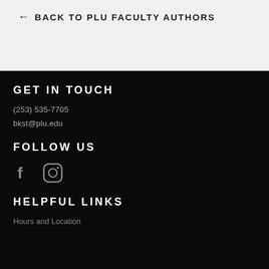← BACK TO PLU FACULTY AUTHORS
GET IN TOUCH
(253) 535-7705
bkst@plu.edu
FOLLOW US
[Figure (illustration): Social media icons: Facebook (f) and Instagram (camera icon)]
HELPFUL LINKS
Hours and Location